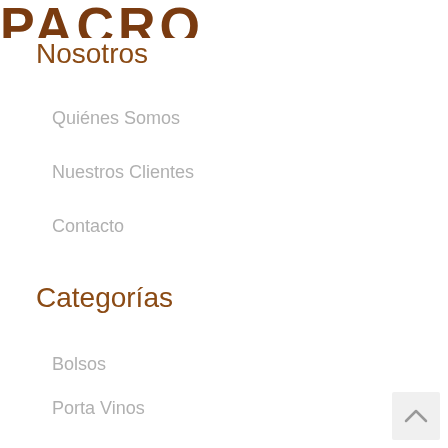PACRO
Nosotros
Quiénes Somos
Nuestros Clientes
Contacto
Categorías
Bolsos
Porta Vinos
Mochilas
Billeteras
Porta Documentos
Carteras